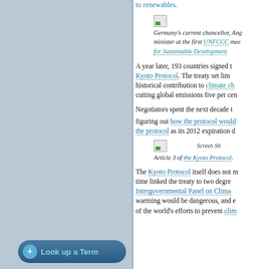to renewables.
[Figure (photo): Small image thumbnail (broken/placeholder image icon)]
Germany's current chancellor, Ang minister at the first UNFCCC mee for Sustainable Development
A year later, 193 countries signed t Kyoto Protocol. The treaty set lim historical contribution to climate ch cutting global emissions five per cen
Negotiators spent the next decade t
figuring out how the protocol would the protocol as its 2012 expiration d
[Figure (screenshot): Small image thumbnail with Screen Shot label]
Article 3 of the Kyoto Protocol.
The Kyoto Protocol itself does not m time linked the treaty to two degre Intergovernmental Panel on Clima warming would be dangerous, and e of the world's efforts to prevent clim
Look up a Term